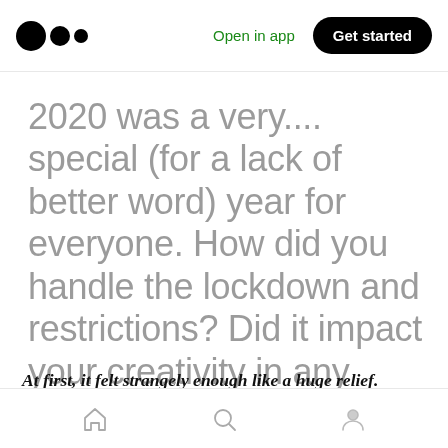Medium logo | Open in app | Get started
2020 was a very.... special (for a lack of better word) year for everyone. How did you handle the lockdown and restrictions? Did it impact your creativity in any way?
At first, it felt strangely enough like a huge relief.
Home | Search | Profile